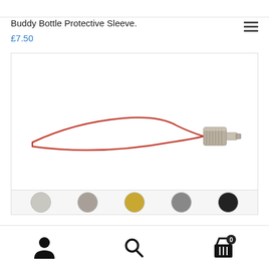[Figure (screenshot): Top bar / header area of a mobile e-commerce page, grey border at top]
Buddy Bottle Protective Sleeve.
£7.50
[Figure (photo): Product photo showing a red cord/lanyard looped through a small silver metal connector/fitting on a white background]
[Figure (screenshot): Bottom navigation bar with person/account icon, search icon, and shopping basket icon with badge showing 0]